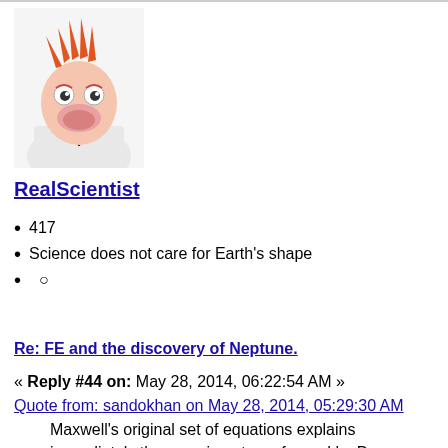[Figure (photo): Avatar image of Beaker from the Muppets, a puppet with wild orange hair, googly eyes, and a large pink nose, wearing a lab coat, against a white background.]
RealScientist
417
Science does not care for Earth's shape
○
Re: FE and the discovery of Neptune.
« Reply #44 on: May 28, 2014, 06:22:54 AM »
Quote from: sandokhan on May 28, 2014, 05:29:30 AM
Maxwell's original set of equations explains immediately the experiments performed by Dr.